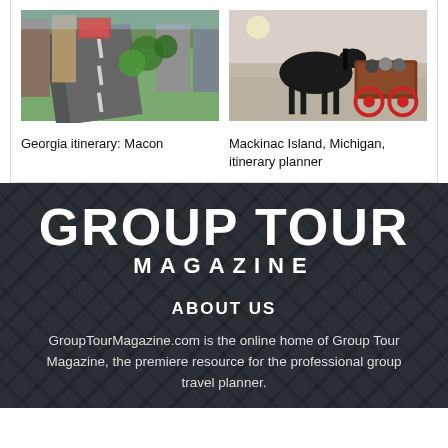[Figure (photo): Aerial view of a city street in Macon, Georgia with buildings and trees]
Georgia itinerary: Macon
[Figure (photo): Horse-drawn carriage on Mackinac Island, Michigan with people riding]
Mackinac Island, Michigan, itinerary planner
[Figure (logo): Group Tour Magazine logo in white text on dark background with lattice overlay]
ABOUT US
GroupTourMagazine.com is the online home of Group Tour Magazine, the premiere resource for the professional group travel planner.